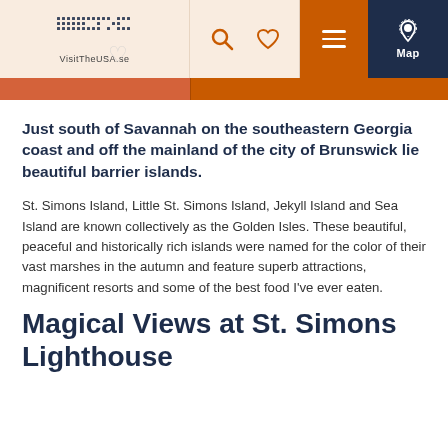VisitTheUSA.se — navigation header with logo, search, heart, menu, and map icons
Just south of Savannah on the southeastern Georgia coast and off the mainland of the city of Brunswick lie beautiful barrier islands.
St. Simons Island, Little St. Simons Island, Jekyll Island and Sea Island are known collectively as the Golden Isles. These beautiful, peaceful and historically rich islands were named for the color of their vast marshes in the autumn and feature superb attractions, magnificent resorts and some of the best food I've ever eaten.
Magical Views at St. Simons Lighthouse